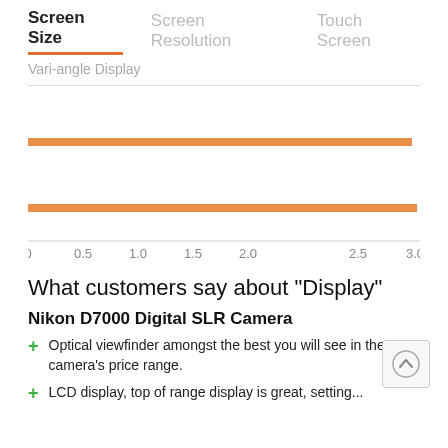Screen Size | Screen Resolution | Touch Screen
Vari-angle Display
[Figure (bar-chart): Screen Size comparison]
What customers say about "Display"
Nikon D7000 Digital SLR Camera
Optical viewfinder amongst the best you will see in the camera's price range.
LCD display, top of range display is great, setting...